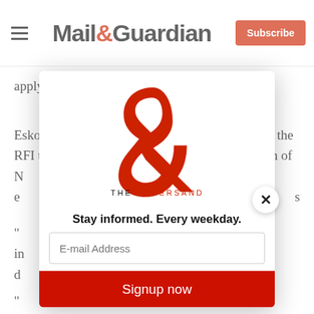Mail&Guardian | Subscribe
apply to do so by the end of this month.
Eskom said vendors do not need to participate in the RFI to participate in the RFP. But the chairperson of N[…] e[…] th[…]
"[…] in[…] d[…]
P[…] ra[…]
"[…]
[Figure (screenshot): Modal popup overlay for Mail & Guardian newsletter signup. Contains 'The Ampersand' logo (large red ampersand with THE AMPERSAND text), tagline 'Stay informed. Every weekday.', an email address input field, and a red 'Signup now' button. A close (X) button appears in the top-right corner of the modal.]